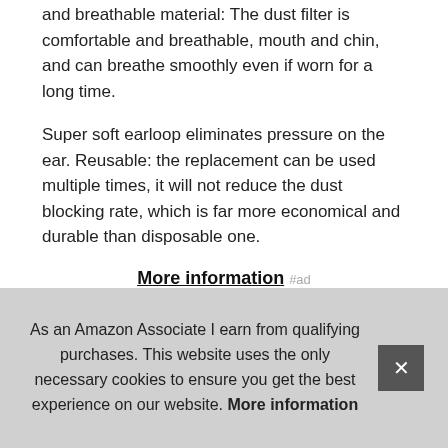and breathable material: The dust filter is comfortable and breathable, mouth and chin, and can breathe smoothly even if worn for a long time.
Super soft earloop eliminates pressure on the ear. Reusable: the replacement can be used multiple times, it will not reduce the dust blocking rate, which is far more economical and durable than disposable one.
More information #ad
Delivery time：7-15 days. Ideal used in outdoor sports such as cycling, snowboarding, skiing, and snowmobiling to protect the face from wind and maintain warmth, also popular among mot... mou... time...
As an Amazon Associate I earn from qualifying purchases. This website uses the only necessary cookies to ensure you get the best experience on our website. More information